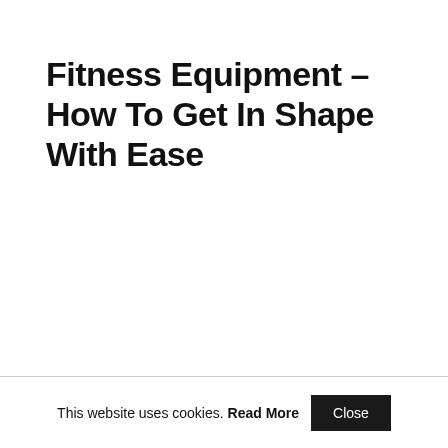Fitness Equipment – How To Get In Shape With Ease
This website uses cookies. Read More Close